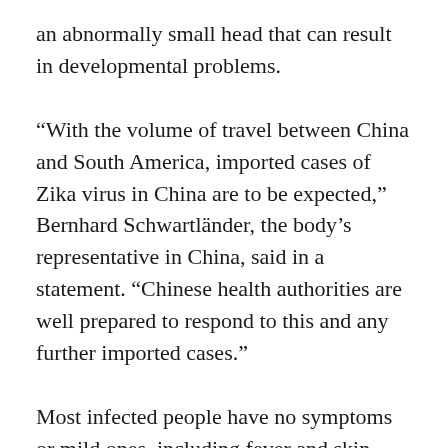an abnormally small head that can result in developmental problems.
“With the volume of travel between China and South America, imported cases of Zika virus in China are to be expected,” Bernhard Schwartländer, the body’s representative in China, said in a statement. “Chinese health authorities are well prepared to respond to this and any further imported cases.”
Most infected people have no symptoms or mild ones, including fever and skin rashes.
The infected Chinese man had travelled to Venezuela and showed symptoms including a fever, headache and